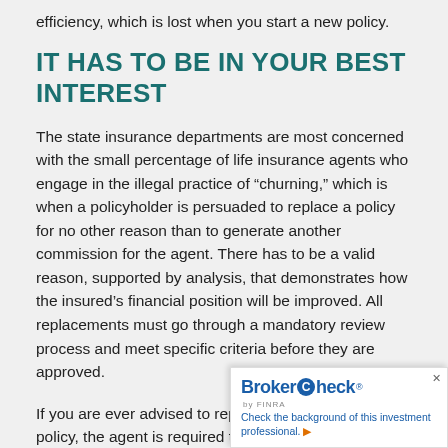efficiency, which is lost when you start a new policy.
IT HAS TO BE IN YOUR BEST INTEREST
The state insurance departments are most concerned with the small percentage of life insurance agents who engage in the illegal practice of “churning,” which is when a policyholder is persuaded to replace a policy for no other reason than to generate another commission for the agent. There has to be a valid reason, supported by analysis, that demonstrates how the insured’s financial position will be improved. All replacements must go through a mandatory review process and meet specific criteria before they are approved.
If you are ever advised to replace a life insurance policy, the agent is required to provide you with a document explaining the rules and require…
[Figure (other): BrokerCheck by FINRA widget overlay in the bottom-right corner. Contains BrokerCheck logo with blue text and circular logo mark, FINRA byline, and tagline: Check the background of this investment professional.]